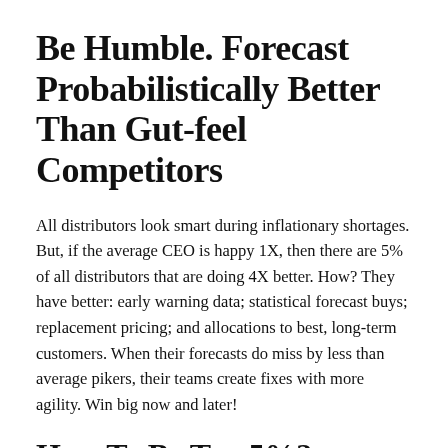Be Humble. Forecast Probabilistically Better Than Gut-feel Competitors
All distributors look smart during inflationary shortages. But, if the average CEO is happy 1X, then there are 5% of all distributors that are doing 4X better. How? They have better: early warning data; statistical forecast buys; replacement pricing; and allocations to best, long-term customers. When their forecasts do miss by less than average pikers, their teams create fixes with more agility. Win big now and later!
How To Be Top 5%?